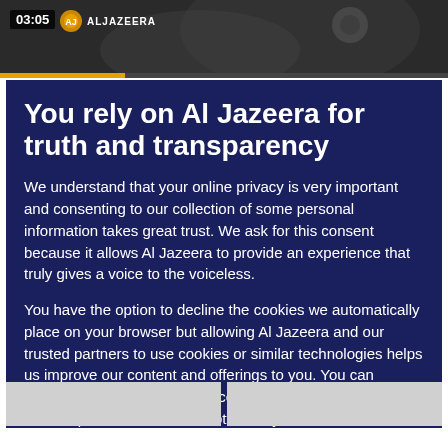[Figure (screenshot): Al Jazeera video thumbnail showing timestamp 03:05 with Al Jazeera logo and orange progress bar]
You rely on Al Jazeera for truth and transparency
We understand that your online privacy is very important and consenting to our collection of some personal information takes great trust. We ask for this consent because it allows Al Jazeera to provide an experience that truly gives a voice to the voiceless.
You have the option to decline the cookies we automatically place on your browser but allowing Al Jazeera and our trusted partners to use cookies or similar technologies helps us improve our content and offerings to you. You can change your privacy preferences at any time by selecting ‘Cookie preferences’ at the bottom of your screen. To learn more, please view our Cookie Policy.